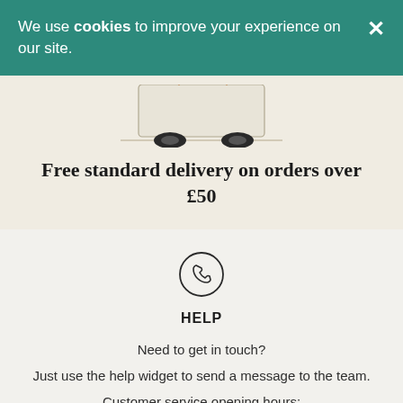We use cookies to improve your experience on our site.
[Figure (illustration): Partial view of a delivery van illustration (wheels and bottom visible) on a beige/cream background]
Free standard delivery on orders over £50
[Figure (illustration): Phone/telephone icon inside a circle, representing help/contact]
HELP
Need to get in touch?
Just use the help widget to send a message to the team.
Customer service opening hours:
Monday – Sunday